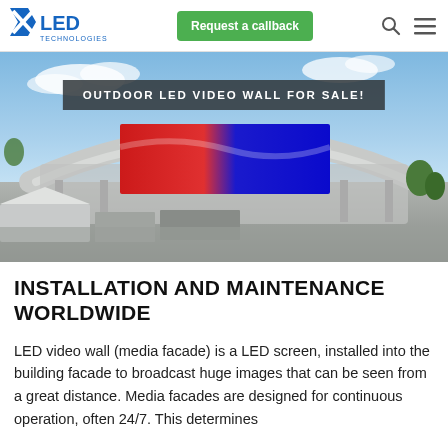XLED Technologies — Request a callback
[Figure (photo): Aerial photo of a large stadium with a massive LED video wall/media facade displaying a red and blue flag-like image, against a blue sky with clouds. Overlay banner reads: OUTDOOR LED VIDEO WALL FOR SALE!]
INSTALLATION AND MAINTENANCE WORLDWIDE
LED video wall (media facade) is a LED screen, installed into the building facade to broadcast huge images that can be seen from a great distance. Media facades are designed for continuous operation, often 24/7. This determines